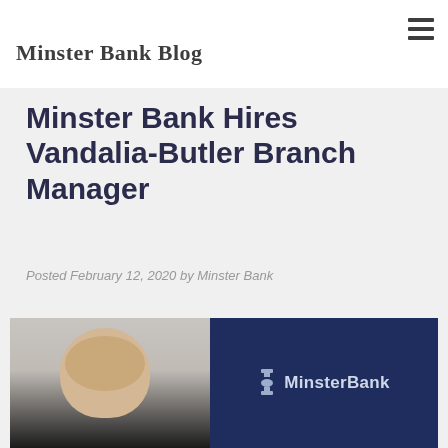Minster Bank Blog
Minster Bank Hires Vandalia-Butler Branch Manager
Posted February 12, 2020 by Minster Bank
[Figure (photo): Professional headshot of a woman with brown hair smiling, alongside a navy blue panel with the MinsterBank logo featuring a hourglass icon and the text 'MinsterBank']